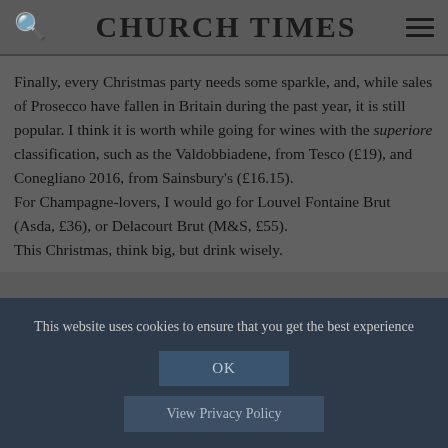CHURCH TIMES
Finally, every Christmas party needs some sparkle, and, while sales of Prosecco have fallen in Britain during the past year, it is still popular. I think it is worth while going for wines with the superiore classification, such as the Valdobbiadene, from Tesco (£19), and Conegliano 2016, from Sainsbury's (£16.15).
For Champagne-lovers, I would go for Louvel Fontaine Brut (Asda, £36), or Delacourt Brut (M&S, £55).
This Christmas, think big, but drink wisely.
This website uses cookies to ensure that you get the best experience